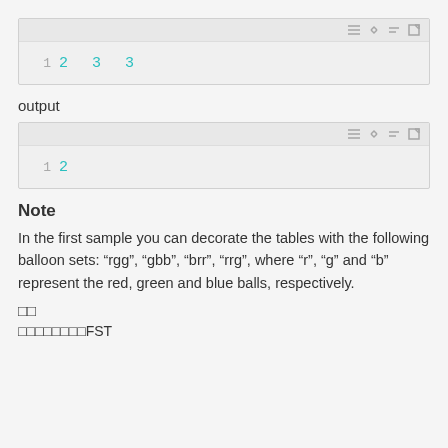[Figure (screenshot): Code block showing line '1  2 3 3' with toolbar icons]
output
[Figure (screenshot): Code block showing line '1  2' with toolbar icons]
Note
In the first sample you can decorate the tables with the following balloon sets: “rgg”, “gbb”, “brr”, “rrg”, where “r”, “g” and “b” represent the red, green and blue balls, respectively.
□□
□□□□□□□□FST